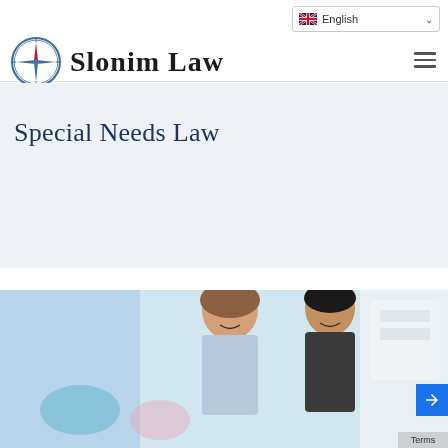English (language selector)
[Figure (logo): Slonim Law logo with compass rose icon and firm name text]
Special Needs Law
[Figure (photo): Two people (adult and teenager) laughing and smiling together, colorful blurred background]